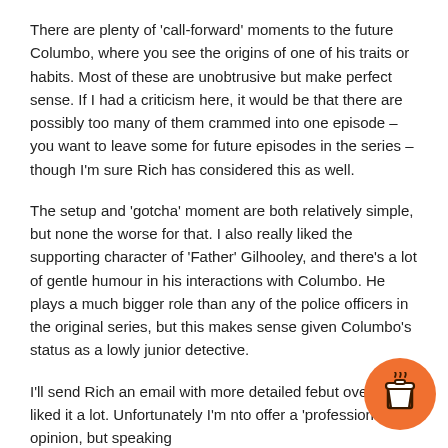There are plenty of 'call-forward' moments to the future Columbo, where you see the origins of one of his traits or habits. Most of these are unobtrusive but make perfect sense. If I had a criticism here, it would be that there are possibly too many of them crammed into one episode – you want to leave some for future episodes in the series – though I'm sure Rich has considered this as well.
The setup and 'gotcha' moment are both relatively simple, but none the worse for that. I also really liked the supporting character of 'Father' Gilhooley, and there's a lot of gentle humour in his interactions with Columbo. He plays a much bigger role than any of the police officers in the original series, but this makes sense given Columbo's status as a lowly junior detective.
I'll send Rich an email with more detailed fe... but overall I liked it a lot. Unfortunately I'm n... to offer a 'professional' opinion, but speaking
[Figure (illustration): Orange circular button with a coffee cup icon (take-away cup with lid), positioned in the bottom-right corner of the page.]